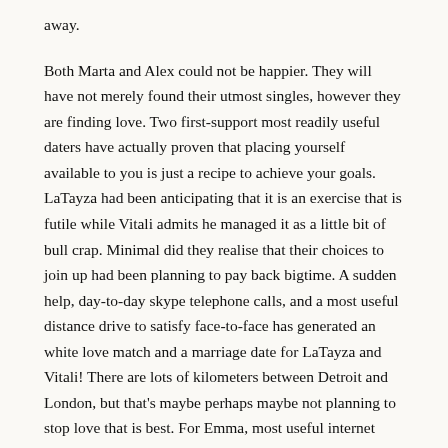away.
Both Marta and Alex could not be happier. They will have not merely found their utmost singles, however they are finding love. Two first-support most readily useful daters have actually proven that placing yourself available to you is just a recipe to achieve your goals. LaTayza had been anticipating that it is an exercise that is futile while Vitali admits he managed it as a little bit of bull crap. Minimal did they realise that their choices to join up had been planning to pay back bigtime. A sudden help, day-to-day skype telephone calls, and a most useful distance drive to satisfy face-to-face has generated an white love match and a marriage date for LaTayza and Vitali! There are lots of kilometers between Detroit and London, but that's maybe perhaps maybe not planning to stop love that is best. For Emma, most useful internet dating meant access to more possible help matches.
For Percival, the specialized solution supplied by InterracialDatingCentral intrigued him adequate to become listed